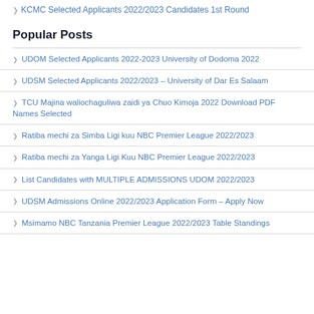KCMC Selected Applicants 2022/2023 Candidates 1st Round
Popular Posts
UDOM Selected Applicants 2022-2023 University of Dodoma 2022
UDSM Selected Applicants 2022/2023 – University of Dar Es Salaam
TCU Majina waliochaguliwa zaidi ya Chuo Kimoja 2022 Download PDF Names Selected
Ratiba mechi za Simba Ligi kuu NBC Premier League 2022/2023
Ratiba mechi za Yanga Ligi Kuu NBC Premier League 2022/2023
List Candidates with MULTIPLE ADMISSIONS UDOM 2022/2023
UDSM Admissions Online 2022/2023 Application Form – Apply Now
Msimamo NBC Tanzania Premier League 2022/2023 Table Standings